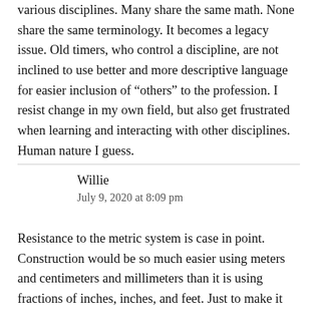various disciplines. Many share the same math. None share the same terminology. It becomes a legacy issue. Old timers, who control a discipline, are not inclined to use better and more descriptive language for easier inclusion of “others” to the profession. I resist change in my own field, but also get frustrated when learning and interacting with other disciplines. Human nature I guess.
Willie
July 9, 2020 at 8:09 pm
Resistance to the metric system is case in point. Construction would be so much easier using meters and centimeters and millimeters than it is using fractions of inches, inches, and feet. Just to make it worse, some earthwork and utility work is done to tenths of inches instead of eighths and quarters.